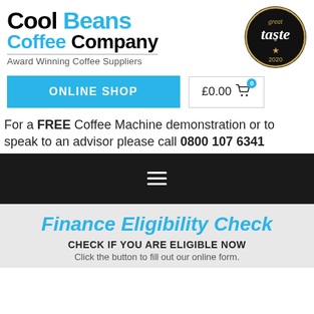[Figure (logo): Cool Beans Coffee Company logo with 'Award Winning Coffee Suppliers' tagline and Great Taste 2020 award badge]
[Figure (other): Online Shop button and £0.00 cart button navigation row]
For a FREE Coffee Machine demonstration or to speak to an advisor please call 0800 107 6341
[Figure (other): Dark navigation bar with hamburger menu icon]
Finance Eligibility Check
CHECK IF YOU ARE ELIGIBLE NOW
Click the button to fill out our online form.